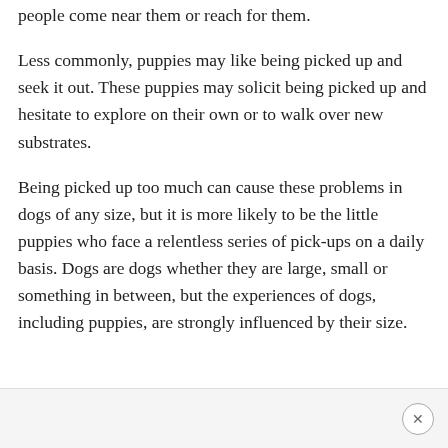people come near them or reach for them.
Less commonly, puppies may like being picked up and seek it out. These puppies may solicit being picked up and hesitate to explore on their own or to walk over new substrates.
Being picked up too much can cause these problems in dogs of any size, but it is more likely to be the little puppies who face a relentless series of pick-ups on a daily basis. Dogs are dogs whether they are large, small or something in between, but the experiences of dogs, including puppies, are strongly influenced by their size.